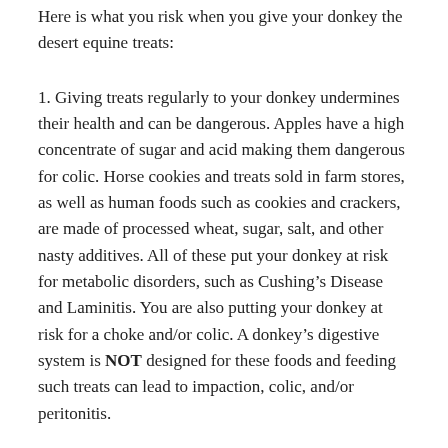Here is what you risk when you give your donkey the desert equine treats:
1. Giving treats regularly to your donkey undermines their health and can be dangerous. Apples have a high concentrate of sugar and acid making them dangerous for colic. Horse cookies and treats sold in farm stores, as well as human foods such as cookies and crackers, are made of processed wheat, sugar, salt, and other nasty additives. All of these put your donkey at risk for metabolic disorders, such as Cushing’s Disease and Laminitis. You are also putting your donkey at risk for a choke and/or colic. A donkey’s digestive system is NOT designed for these foods and feeding such treats can lead to impaction, colic, and/or peritonitis.
2. Giving treats regularly to your donkey undermines